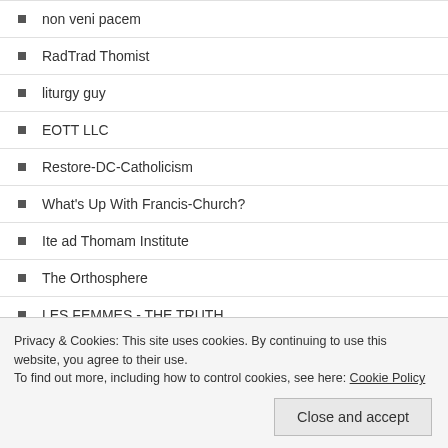non veni pacem
RadTrad Thomist
liturgy guy
EOTT LLC
Restore-DC-Catholicism
What's Up With Francis-Church?
Ite ad Thomam Institute
The Orthosphere
LES FEMMES - THE TRUTH
OnePeterFive
Musings of a Michigan-Man
Privacy & Cookies: This site uses cookies. By continuing to use this website, you agree to their use. To find out more, including how to control cookies, see here: Cookie Policy
Close and accept